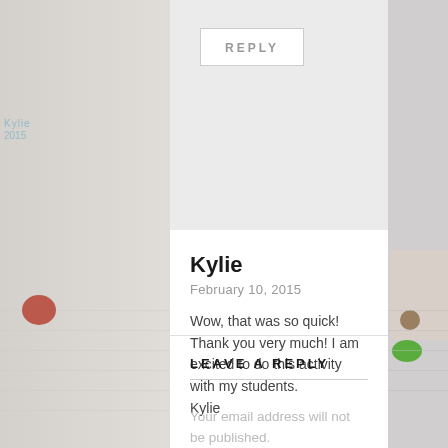[Figure (screenshot): A REPLY button in a light grey comment box at the top of the page]
Kylie
February 10, 2015
Wow, that was so quick! Thank you very much! I am excited to do this activity with my students.
Kylie
LEAVE A REPLY
Your email address will not be published.